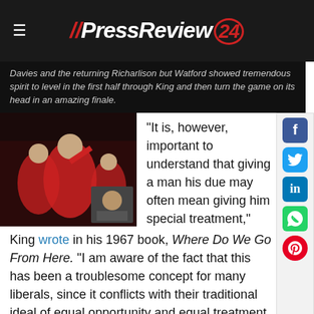// PressReview 24
Davies and the returning Richarlison but Watford showed tremendous spirit to level in the first half through King and then turn the game on its head in an amazing finale.
[Figure (photo): Soccer players in red uniforms celebrating, with a smaller inset photo of a person]
“It is, however, important to understand that giving a man his due may often mean giving him special treatment,” King wrote in his 1967 book, Where Do We Go From Here. “I am aware of the fact that this has been a troublesome concept for many liberals, since it conflicts with their traditional ideal of equal opportunity and equal treatment of people according to their individual merits.”
Fifty-four years later, this remains a troublesome concept for many Americans who declare that they